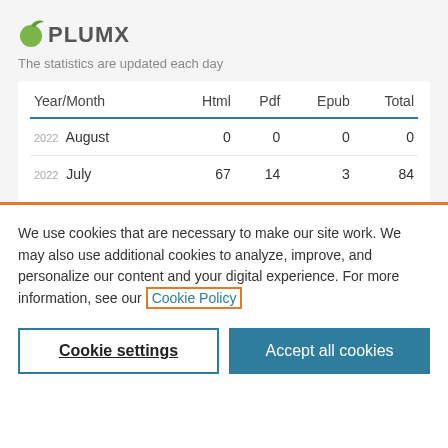[Figure (logo): PlumX logo with green fruit icon and gray uppercase text PLUMX]
The statistics are updated each day
| Year/Month | Html | Pdf | Epub | Total |
| --- | --- | --- | --- | --- |
| 2022 August | 0 | 0 | 0 | 0 |
| 2022 July | 67 | 14 | 3 | 84 |
We use cookies that are necessary to make our site work. We may also use additional cookies to analyze, improve, and personalize our content and your digital experience. For more information, see our Cookie Policy
Cookie settings
Accept all cookies